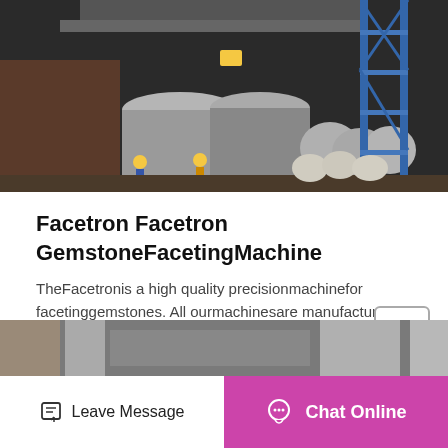[Figure (photo): Industrial factory scene showing large metal rolls/cylinders on equipment, workers in hard hats, blue steel scaffolding structure on the right, industrial machinery in the background.]
Facetron Facetron GemstoneFacetingMachine
TheFacetronis a high quality precisionmachinefor facetinggemstones. All ourmachinesare manufactured in the United States ensuring the superior workmanship o…
MORE DETAILS
[Figure (photo): Partial industrial/factory image visible at bottom of page.]
Leave Message | Chat Online